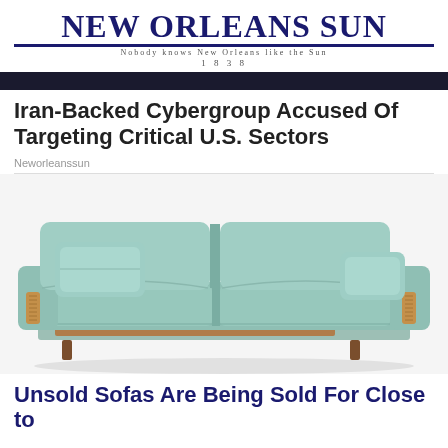NEW ORLEANS SUN
Nobody knows New Orleans like the Sun
1838
Iran-Backed Cybergroup Accused Of Targeting Critical U.S. Sectors
Neworleanssun
[Figure (photo): Photo of a modern sage/mint green sofa with wooden accents on armrests and two throw pillows, against a white background]
Unsold Sofas Are Being Sold For Close to